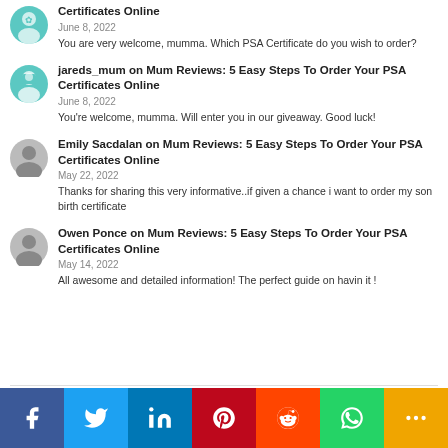Certificates Online
June 8, 2022
You are very welcome, mumma. Which PSA Certificate do you wish to order?
jareds_mum on Mum Reviews: 5 Easy Steps To Order Your PSA Certificates Online
June 8, 2022
You're welcome, mumma. Will enter you in our giveaway. Good luck!
Emily Sacdalan on Mum Reviews: 5 Easy Steps To Order Your PSA Certificates Online
May 22, 2022
Thanks for sharing this very informative..if given a chance i want to order my son birth certificate
Owen Ponce on Mum Reviews: 5 Easy Steps To Order Your PSA Certificates Online
May 14, 2022
All awesome and detailed information! The perfect guide on havin it !
[Figure (infographic): Social sharing bar with Facebook, Twitter, LinkedIn, Pinterest, Reddit, WhatsApp, and More buttons]